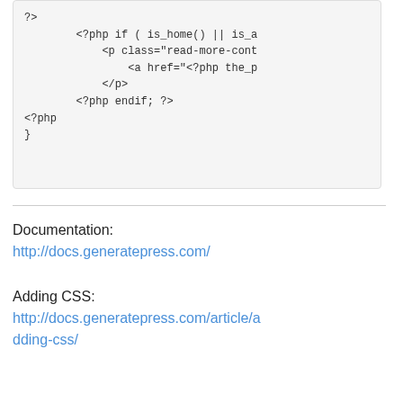[Figure (screenshot): Code block showing PHP snippet with lines: ?>, <?php if ( is_home() || is_..., <p class="read-more-con..., <a href="<?php the_..., </p>, <?php endif; ?>, <?php, }]
Documentation: http://docs.generatepress.com/
Adding CSS: http://docs.generatepress.com/article/adding-css/